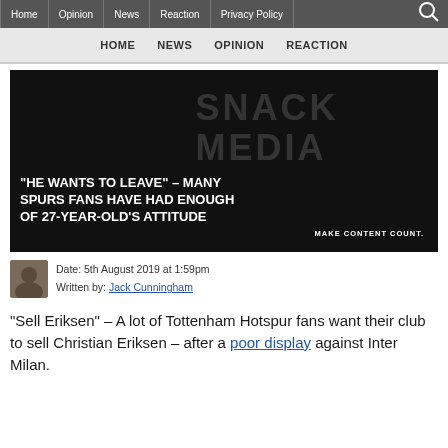Home | Opinion | News | Reaction | Privacy Policy
HOME  NEWS  OPINION  REACTION
[Figure (photo): Black background image with large stylized SNACK MEDIA logo text overlaid. White bold text headline reads: "HE WANTS TO LEAVE" – MANY SPURS FANS HAVE HAD ENOUGH OF 27-YEAR-OLD'S ATTITUDE. Bottom right: MAKE CONTENT COUNT.]
Date: 5th August 2019 at 1:59pm
Written by: Jack Cunningham
“Sell Eriksen” – A lot of Tottenham Hotspur fans want their club to sell Christian Eriksen – after a poor display against Inter Milan.